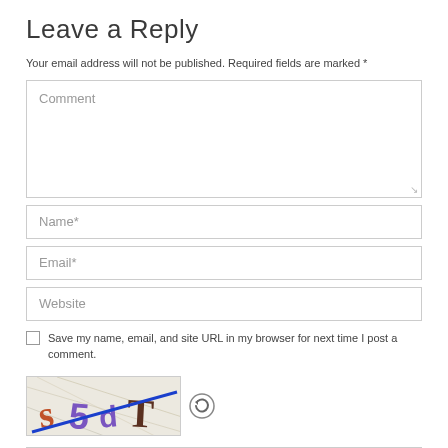Leave a Reply
Your email address will not be published. Required fields are marked *
[Figure (screenshot): Comment textarea form field with placeholder text 'Comment' and resize handle]
[Figure (screenshot): Name* text input field]
[Figure (screenshot): Email* text input field]
[Figure (screenshot): Website text input field]
Save my name, email, and site URL in my browser for next time I post a comment.
[Figure (screenshot): CAPTCHA image showing letters S, 5, d, T with a blue diagonal line and a refresh/reload icon button next to it]
[Figure (screenshot): Empty text input field at the bottom (CAPTCHA entry field)]